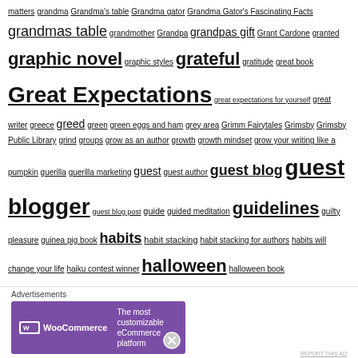matters grandma Grandma's table Grandma gator Grandma Gator's Fascinating Facts grandmas table grandmother Grandpa grandpas gift Grant Cardone granted graphic novel graphic styles grateful gratitude great book Great Expectations great expectations for yourself great writer greece greed green green eggs and ham grey area Grimm Fairytales Grimsby Grimsby Public Library grind groups grow as an author growth growth mindset grow your writing like a pumpkin guerilla guerilla marketing guest guest author guest blog guest blogger guest blog post guide guided meditation guidelines guilty pleasure guinea pig book habits habit stacking habit stacking for authors habits will change your life haiku contest winner halloween halloween book Hamilton hamilton local publisher hamilton ontario hamilton ontario book publisher hamilton ontario canada hamilton ontario canada publisher hamilton ontario publisher hamilton ontario self publishing Hamilton Public Library hamilton publisher hamilton publishing hamilton spec hamilton spectator hand gestures handwriting hang in
[Figure (other): WooCommerce advertisement banner: purple background with WooCommerce logo and text 'The most customizable eCommerce platform']